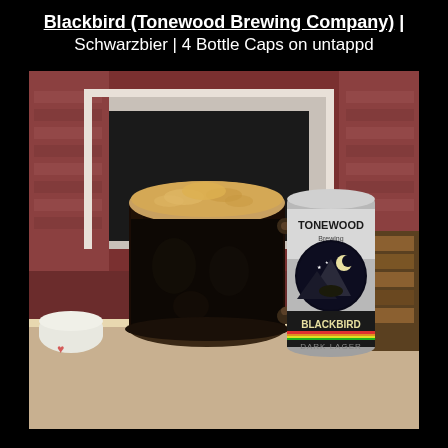Blackbird (Tonewood Brewing Company) | Schwarzbier | 4 Bottle Caps on untappd
[Figure (photo): A glass beer mug filled with dark black beer topped with a tan foam head, next to a Tonewood Brewing Blackbird Dark Lager can, set on a white tablecloth in front of a brick fireplace in a home setting.]